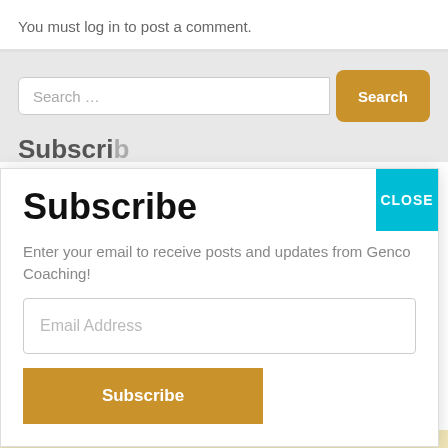You must log in to post a comment.
Search …
Subscribe
Enter your email to receive posts and updates from Genco Coaching!
Email Address
Subscribe
CLOSE